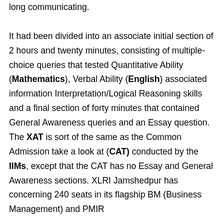long communicating. It had been divided into an associate initial section of 2 hours and twenty minutes, consisting of multiple-choice queries that tested Quantitative Ability (Mathematics), Verbal Ability (English) associated information Interpretation/Logical Reasoning skills and a final section of forty minutes that contained General Awareness queries and an Essay question. The XAT is sort of the same as the Common Admission take a look at (CAT) conducted by the IIMs, except that the CAT has no Essay and General Awareness sections. XLRI Jamshedpur has concerning 240 seats in its flagship BM (Business Management) and PMIR